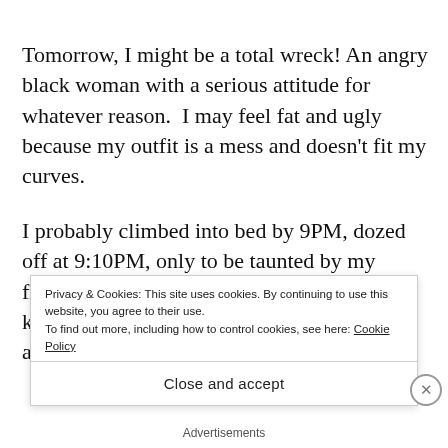Tomorrow, I might be a total wreck! An angry black woman with a serious attitude for whatever reason.  I may feel fat and ugly because my outfit is a mess and doesn't fit my curves.
I probably climbed into bed by 9PM, dozed off at 9:10PM, only to be taunted by my friends for being a "granny."  If only they knew, I'm in here doubting my own sanity and asking myself "Are y...
Privacy & Cookies: This site uses cookies. By continuing to use this website, you agree to their use.
To find out more, including how to control cookies, see here: Cookie Policy
Close and accept
Advertisements